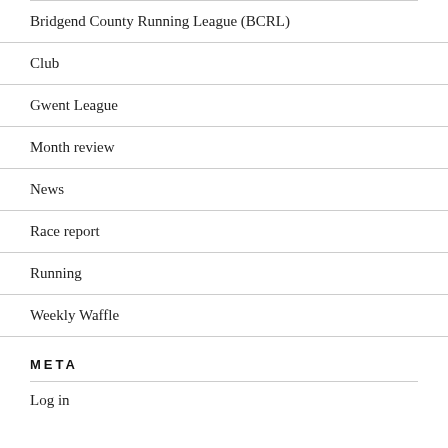Bridgend County Running League (BCRL)
Club
Gwent League
Month review
News
Race report
Running
Weekly Waffle
META
Log in